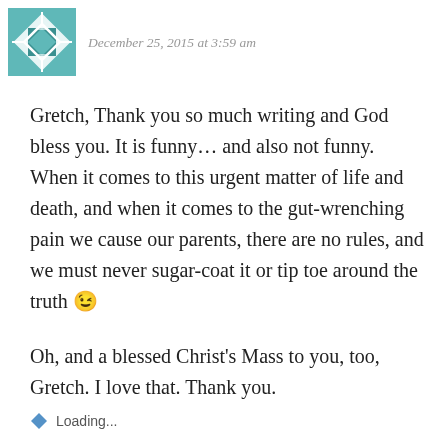December 25, 2015 at 3:59 am
Gretch, Thank you so much writing and God bless you. It is funny… and also not funny. When it comes to this urgent matter of life and death, and when it comes to the gut-wrenching pain we cause our parents, there are no rules, and we must never sugar-coat it or tip toe around the truth 😉
Oh, and a blessed Christ's Mass to you, too, Gretch. I love that. Thank you.
Loading...